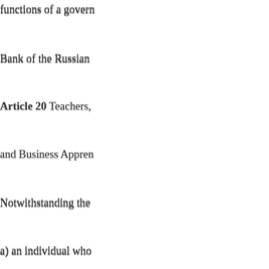functions of a govern
Bank of the Russian
Article 20 Teachers, and Business Appren Notwithstanding the a) an individual who before making a visit of any university, col which is recognised a in accordance with it period not exceeding State, solely for the p educational institutio remuneration for suc